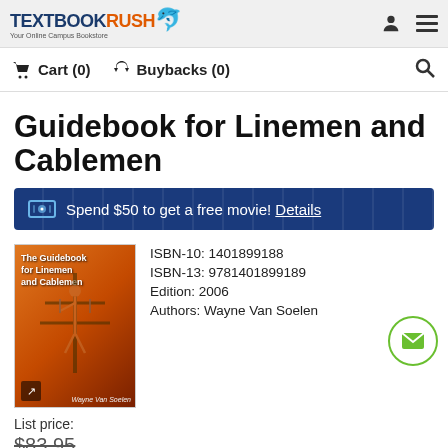TextbookRush — Your Online Campus Bookstore
Cart (0)   Buybacks (0)
Guidebook for Linemen and Cablemen
🎬 Spend $50 to get a free movie! Details
[Figure (photo): Book cover of 'The Guidebook for Linemen and Cablemen' by Wayne Van Soelen, showing linemen on a utility pole against an orange background]
ISBN-10: 1401899188
ISBN-13: 9781401899189
Edition: 2006
Authors: Wayne Van Soelen
List price:
$83.95